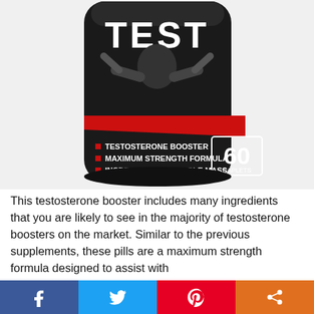[Figure (photo): Black supplement bottle labeled 'TEST' with red accents, showing a muscular athlete, text reading 'TESTOSTERONE BOOSTER', 'MAXIMUM STRENGTH FORMULA', 'INCREASE LEAN MUSCLE MASS', and '60 CAPLETS' on a white background.]
This testosterone booster includes many ingredients that you are likely to see in the majority of testosterone boosters on the market. Similar to the previous supplements, these pills are a maximum strength formula designed to assist with
Jockeze Jock Itch Treatment